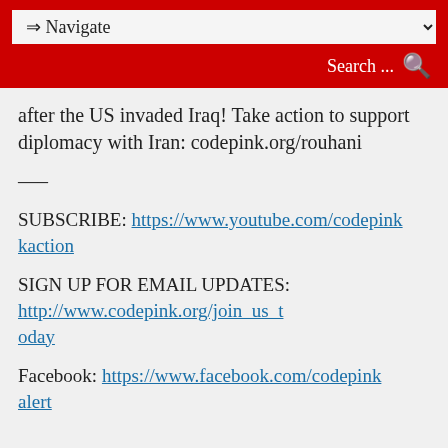⇒ Navigate  Search ...
after the US invaded Iraq! Take action to support diplomacy with Iran: codepink.org/rouhani
—–
SUBSCRIBE: https://www.youtube.com/codepinkaction
SIGN UP FOR EMAIL UPDATES: http://www.codepink.org/join_us_today
Facebook: https://www.facebook.com/codepinkalert